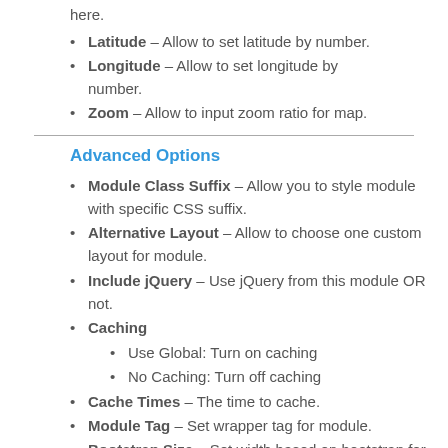here.
Latitude – Allow to set latitude by number.
Longitude – Allow to set longitude by number.
Zoom – Allow to input zoom ratio for map.
Advanced Options
Module Class Suffix – Allow you to style module with specific CSS suffix.
Alternative Layout – Allow to choose one custom layout for module.
Include jQuery – Use jQuery from this module OR not.
Caching
Use Global: Turn on caching
No Caching: Turn off caching
Cache Times – The time to cache.
Module Tag – Set wrapper tag for module.
Bootstrap Size – Set width based on bootstrap for wrapper of module.
Header Tag – Set tag for module title.